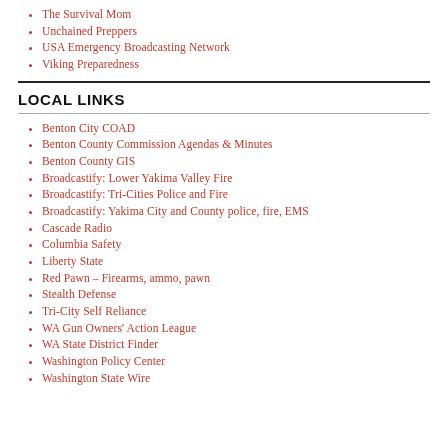The Survival Mom
Unchained Preppers
USA Emergency Broadcasting Network
Viking Preparedness
LOCAL LINKS
Benton City COAD
Benton County Commission Agendas & Minutes
Benton County GIS
Broadcastify: Lower Yakima Valley Fire
Broadcastify: Tri-Cities Police and Fire
Broadcastify: Yakima City and County police, fire, EMS
Cascade Radio
Columbia Safety
Liberty State
Red Pawn – Firearms, ammo, pawn
Stealth Defense
Tri-City Self Reliance
WA Gun Owners' Action League
WA State District Finder
Washington Policy Center
Washington State Wire